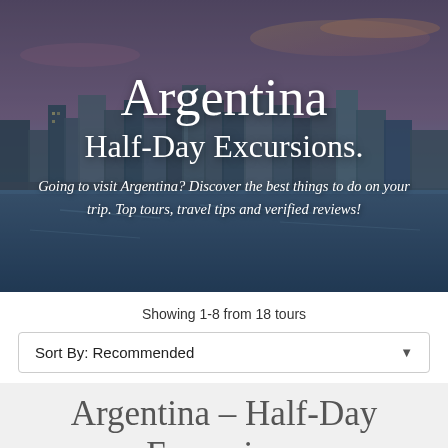[Figure (photo): Aerial/skyline photo of Buenos Aires waterfront at dusk with city skyline and river reflections, used as hero banner background]
Argentina Half-Day Excursions
Going to visit Argentina? Discover the best things to do on your trip. Top tours, travel tips and verified reviews!
Showing 1-8 from 18 tours
Sort By: Recommended
Argentina – Half-Day Excursions